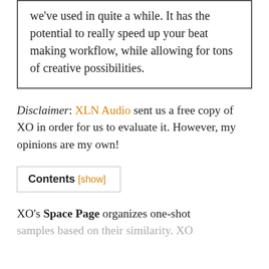we've used in quite a while. It has the potential to really speed up your beat making workflow, while allowing for tons of creative possibilities.
Disclaimer: XLN Audio sent us a free copy of XO in order for us to evaluate it. However, my opinions are my own!
Contents [show]
XO's Space Page organizes one-shot samples based on their similarity. XO